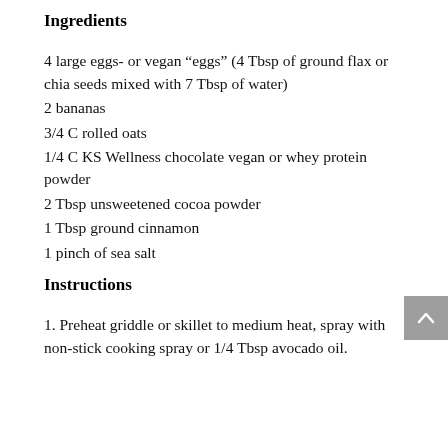Ingredients
4 large eggs- or vegan “eggs” (4 Tbsp of ground flax or chia seeds mixed with 7 Tbsp of water)
2 bananas
3/4 C rolled oats
1/4 C KS Wellness chocolate vegan or whey protein powder
2 Tbsp unsweetened cocoa powder
1 Tbsp ground cinnamon
1 pinch of sea salt
Instructions
1. Preheat griddle or skillet to medium heat, spray with non-stick cooking spray or 1/4 Tbsp avocado oil.